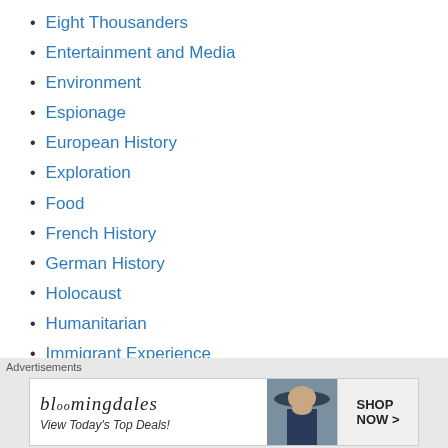Eight Thousanders
Entertainment and Media
Environment
Espionage
European History
Exploration
Food
French History
German History
Holocaust
Humanitarian
Immigrant Experience
Japanese History
[Figure (screenshot): Bloomingdale's advertisement banner: 'View Today's Top Deals!' with SHOP NOW button and woman in hat photo]